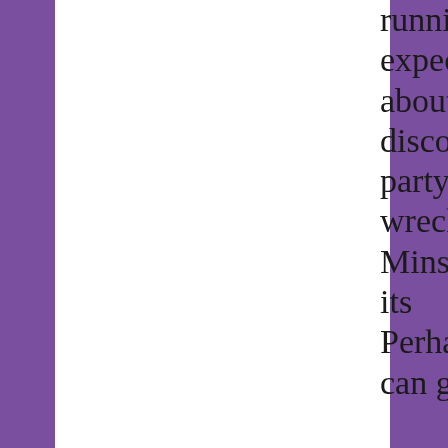running expectations about discord party. Co wreck Minshuto its Perhaps. can go wr * * * Befo further w can go w us rec